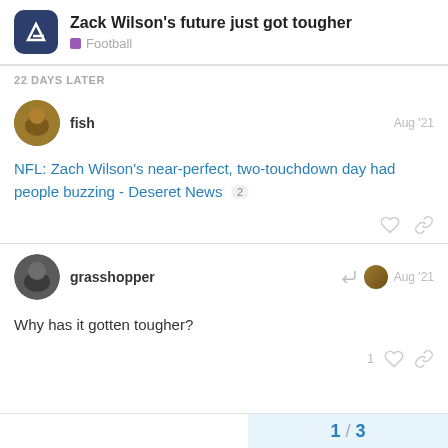Zack Wilson's future just got tougher | Football
22 DAYS LATER
fish  Aug '21
NFL: Zach Wilson's near-perfect, two-touchdown day had people buzzing - Deseret News 2
grasshopper  Aug '21
Why has it gotten tougher?
1 / 3